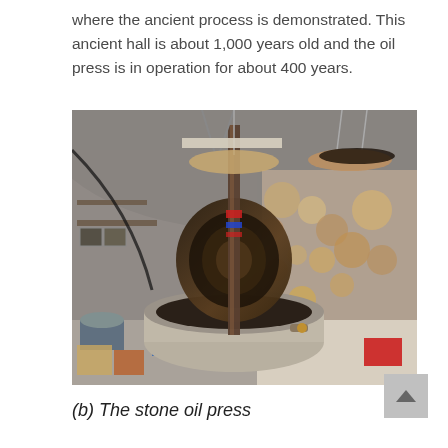where the ancient process is demonstrated. This ancient hall is about 1,000 years old and the oil press is in operation for about 400 years.
[Figure (photo): Interior of an ancient stone oil press hall showing a large circular stone grinding wheel mounted vertically on a stone basin, with hanging pans suspended from the ceiling by chains, and various equipment and storage along the stone walls.]
(b) The stone oil press